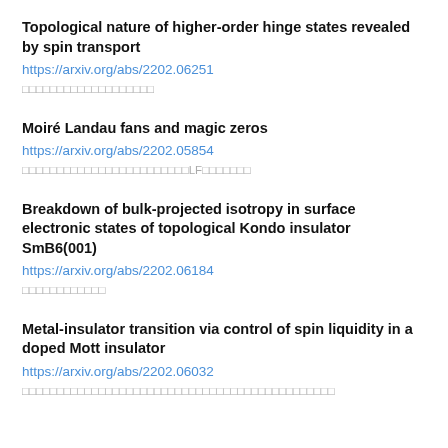Topological nature of higher-order hinge states revealed by spin transport
https://arxiv.org/abs/2202.06251
□□□□□□□□□□□□□□□□□□□
Moiré Landau fans and magic zeros
https://arxiv.org/abs/2202.05854
□□□□□□□□□□□□□□□□□□□□□□□□LF□□□□□□□
Breakdown of bulk-projected isotropy in surface electronic states of topological Kondo insulator SmB6(001)
https://arxiv.org/abs/2202.06184
□□□□□□□□□□□□
Metal-insulator transition via control of spin liquidity in a doped Mott insulator
https://arxiv.org/abs/2202.06032
□□□□□□□□□□□□□□□□□□□□□□□□□□□□□□□□□□□□□□□□□□□□